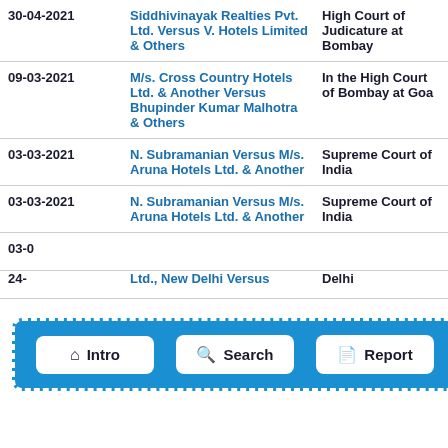| Date | Case | Court |
| --- | --- | --- |
| 30-04-2021 | Siddhivinayak Realties Pvt. Ltd. Versus V. Hotels Limited & Others | High Court of Judicature at Bombay |
| 09-03-2021 | M/s. Cross Country Hotels Ltd. & Another Versus Bhupinder Kumar Malhotra & Others | In the High Court of Bombay at Goa |
| 03-03-2021 | N. Subramanian Versus M/s. Aruna Hotels Ltd. & Another | Supreme Court of India |
| 03-03-2021 | N. Subramanian Versus M/s. Aruna Hotels Ltd. & Another | Supreme Court of India |
| 03-0… | … | … |
| 24-… | Ltd., New Delhi Versus | Delhi |
[Figure (screenshot): Navigation bar overlay with blue background and dashed white border containing three buttons: Intro (home icon), Search (magnifying glass icon), Report (document icon)]